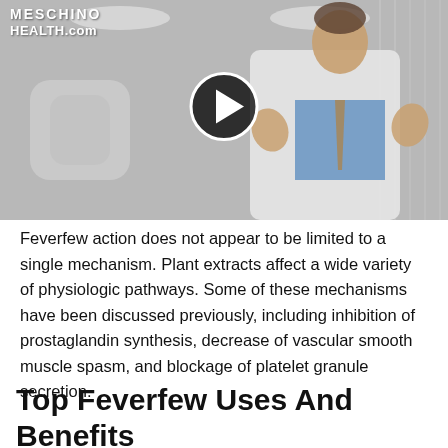[Figure (photo): Video thumbnail showing a doctor in a white lab coat with hands raised, speaking in front of a medical facility background. A play button overlay is visible in the center. The Meschino Health.com logo watermark appears in the top left corner.]
Feverfew action does not appear to be limited to a single mechanism. Plant extracts affect a wide variety of physiologic pathways. Some of these mechanisms have been discussed previously, including inhibition of prostaglandin synthesis, decrease of vascular smooth muscle spasm, and blockage of platelet granule secretion.
Top Feverfew Uses And Benefits